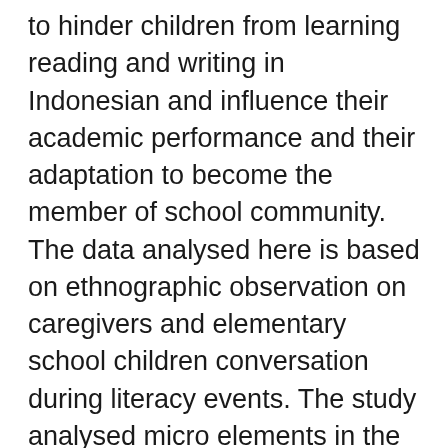to hinder children from learning reading and writing in Indonesian and influence their academic performance and their adaptation to become the member of school community. The data analysed here is based on ethnographic observation on caregivers and elementary school children conversation during literacy events. The study analysed micro elements in the conversation and related it to the macro social construction in the society including the standard norms at school. It is found that the use of Javanese in Indonesian socialization process is one of the strategies employed by the caregivers to teach literacy as to find the ease in the transformational process and to assist in their identity and sense The